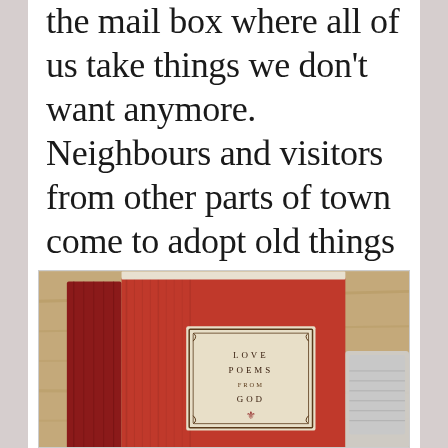the mail box where all of us take things we don't want anymore. Neighbours and visitors from other parts of town come to adopt old things and bring them to their new homes—a brilliant system!
[Figure (photo): A red hardcover book titled 'Love Poems from God' lying on a wooden surface, showing its spine and front cover with decorative border. Another book is partially visible on the left.]